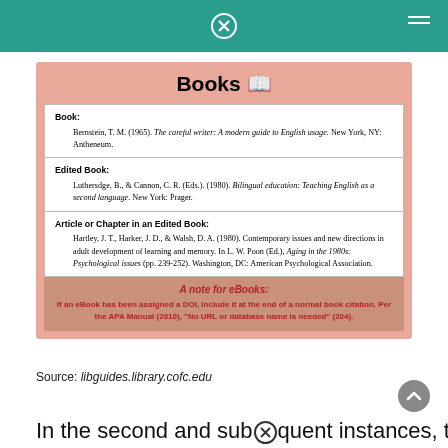[Figure (infographic): APA citation guide for Books section with salmon/teal color scheme]
Source: libguides.library.cofc.edu
In the second and subsequent instances, they